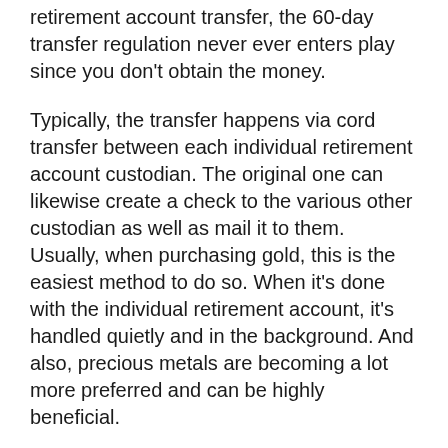retirement account transfer, the 60-day transfer regulation never ever enters play since you don't obtain the money.
Typically, the transfer happens via cord transfer between each individual retirement account custodian. The original one can likewise create a check to the various other custodian as well as mail it to them. Usually, when purchasing gold, this is the easiest method to do so. When it's done with the individual retirement account, it's handled quietly and in the background. And also, precious metals are becoming a lot more preferred and can be highly beneficial.
401( k) to Gold IRA Rollovers